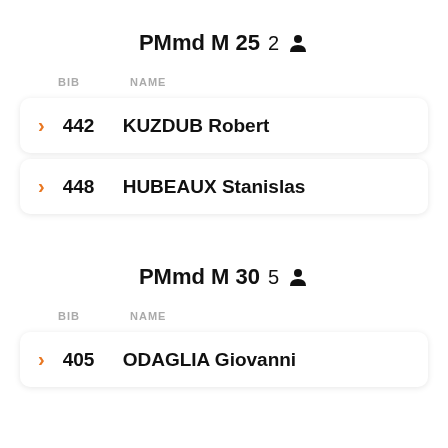PMmd M 25  2 [person icon]
| BIB | NAME |
| --- | --- |
| 442 | KUZDUB Robert |
| 448 | HUBEAUX Stanislas |
PMmd M 30  5 [person icon]
| BIB | NAME |
| --- | --- |
| 405 | ODAGLIA Giovanni |